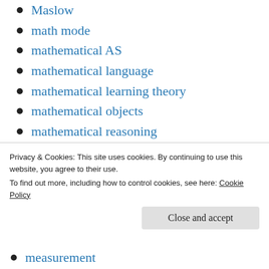Maslow
math mode
mathematical AS
mathematical language
mathematical learning theory
mathematical objects
mathematical reasoning
mathematics
Mea ing of formal expression
meaning
Meaning based inference
Privacy & Cookies: This site uses cookies. By continuing to use this website, you agree to their use.
To find out more, including how to control cookies, see here:
Cookie Policy
measurement